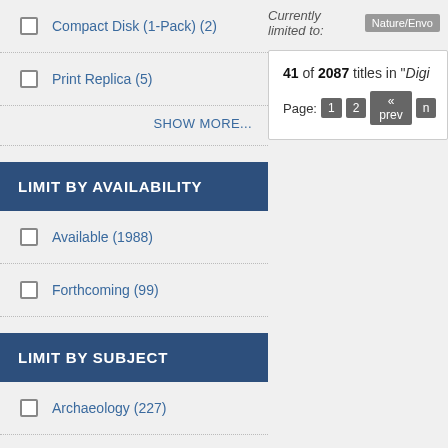Compact Disk (1-Pack) (2)
Print Replica (5)
SHOW MORE...
LIMIT BY AVAILABILITY
Available (1988)
Forthcoming (99)
LIMIT BY SUBJECT
Archaeology (227)
Cultural Studies (222)
Currently limited to: Nature/Envo
41 of 2087 titles in "Digi
Page: 1 2 « prev n